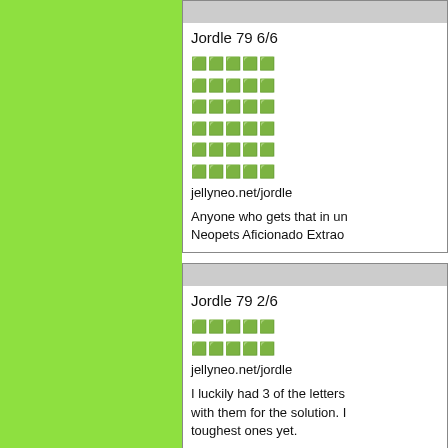[Figure (other): Green sidebar panel]
Jordle 79 6/6
🟩🟩🟩🟩🟩
🟩🟩🟩🟩🟩
🟩🟩🟩🟩🟩
🟩🟩🟩🟩🟩
🟩🟩🟩🟩🟩
🟩🟩🟩🟩🟩
jellyneo.net/jordle
Anyone who gets that in under 6 is a Neopets Aficionado Extraor...
Jordle 79 2/6
🟩🟩🟩🟩🟩
🟩🟩🟩🟩🟩
jellyneo.net/jordle
I luckily had 3 of the letters... with them for the solution. M... toughest ones yet.